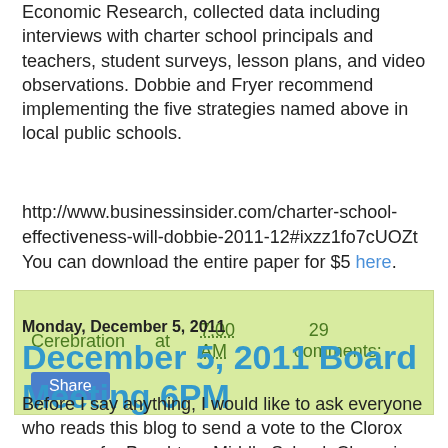Economic Research, collected data including interviews with charter school principals and teachers, student surveys, lesson plans, and video observations. Dobbie and Fryer recommend implementing the five strategies named above in local public schools.
http://www.businessinsider.com/charter-school-effectiveness-will-dobbie-2011-12#ixzz1fo7cUOZt
You can download the entire paper for $5 here.
Cerebration at 7:00 AM   29 comments:
Share
Monday, December 5, 2011
December 5, 2011 Board Meeting 6PM
Before I say anything, I would like to ask everyone who reads this blog to send a vote to the Clorox company for Peachtree Middle School. Clorox is offering a $50,000 grant that if they win, PMS can put towards refurbishing their old,